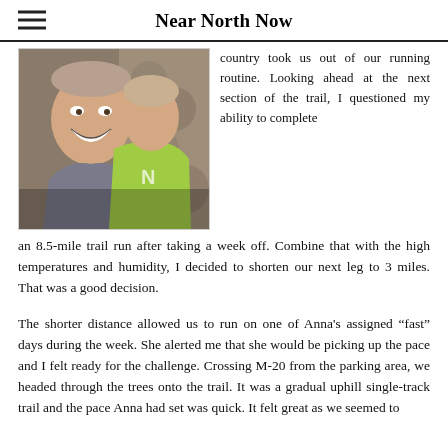Near North Now
[Figure (photo): Two people smiling outdoors on a trail; one wearing a bright green shirt with the letter N, the other in a grey shirt, with a rocky background.]
country took us out of our running routine. Looking ahead at the next section of the trail, I questioned my ability to complete an 8.5-mile trail run after taking a week off. Combine that with the high temperatures and humidity, I decided to shorten our next leg to 3 miles. That was a good decision.
The shorter distance allowed us to run on one of Anna’s assigned “fast” days during the week. She alerted me that she would be picking up the pace and I felt ready for the challenge. Crossing M-20 from the parking area, we headed through the trees onto the trail. It was a gradual uphill single-track trail and the pace Anna had set was quick. It felt great as we seemed to